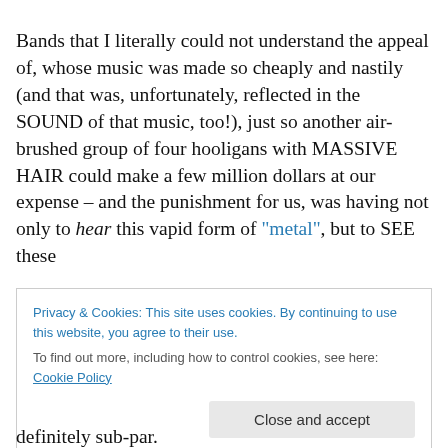Bands that I literally could not understand the appeal of, whose music was made so cheaply and nastily (and that was, unfortunately, reflected in the SOUND of that music, too!), just so another air-brushed group of four hooligans with MASSIVE HAIR could make a few million dollars at our expense – and the punishment for us, was having not only to hear this vapid form of "metal", but to SEE these
Privacy & Cookies: This site uses cookies. By continuing to use this website, you agree to their use.
To find out more, including how to control cookies, see here: Cookie Policy
Close and accept
definitely sub-par.